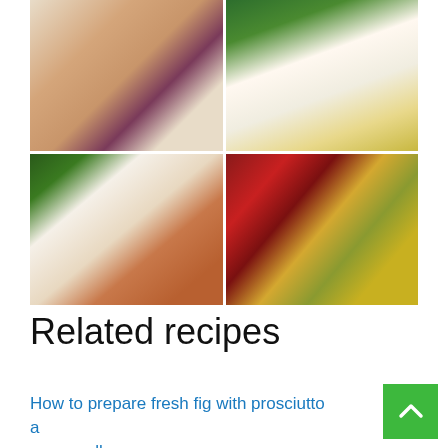[Figure (photo): 2x2 grid of food photos showing: top-left: layered fish/seafood cake slice with lemon on white plate; top-right: decorated seafood cake with herbs, salmon roe, and parsley; bottom-left: open-faced sandwiches with smoked salmon on bread with parsley garnish; bottom-right: seafood open sandwich topped with shrimp, grapes, and herbs]
Related recipes
How to prepare fresh fig with prosciutto and mozzarella